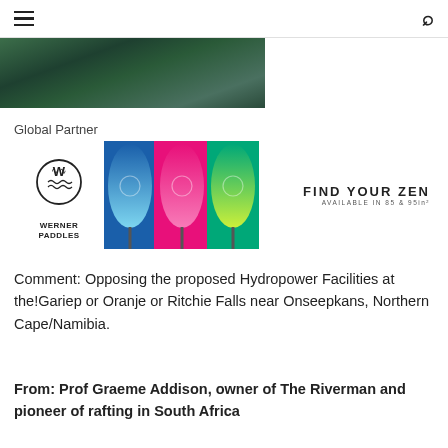hamburger menu | search icon
[Figure (photo): Partial view of a river/water scene photo strip at the top of the page]
Global Partner
[Figure (logo): Werner Paddles advertisement banner with logo (WM circular logo, WERNER PADDLES text), three colorful paddle blades (blue, pink, green), and text FIND YOUR ZEN / AVAILABLE IN 85 & 95in²]
Comment: Opposing the proposed Hydropower Facilities at the!Gariep or Oranje or Ritchie Falls near Onseepkans, Northern Cape/Namibia.
From: Prof Graeme Addison, owner of The Riverman and pioneer of rafting in South Africa